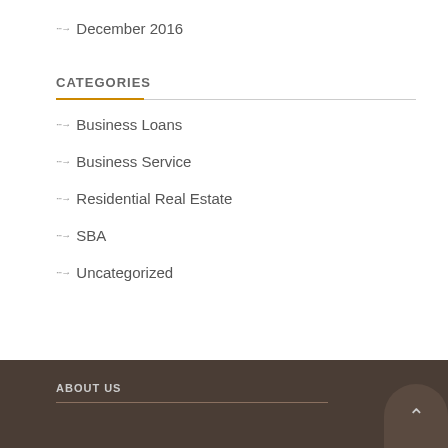December 2016
CATEGORIES
Business Loans
Business Service
Residential Real Estate
SBA
Uncategorized
ABOUT US